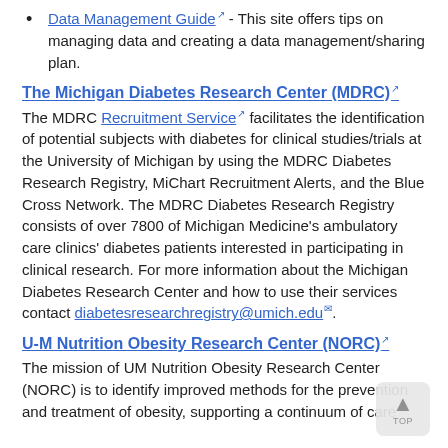Data Management Guide - This site offers tips on managing data and creating a data management/sharing plan.
The Michigan Diabetes Research Center (MDRC)
The MDRC Recruitment Service facilitates the identification of potential subjects with diabetes for clinical studies/trials at the University of Michigan by using the MDRC Diabetes Research Registry, MiChart Recruitment Alerts, and the Blue Cross Network. The MDRC Diabetes Research Registry consists of over 7800 of Michigan Medicine's ambulatory care clinics' diabetes patients interested in participating in clinical research. For more information about the Michigan Diabetes Research Center and how to use their services contact diabetesresearchregistry@umich.edu.
U-M Nutrition Obesity Research Center (NORC)
The mission of UM Nutrition Obesity Research Center (NORC) is to identify improved methods for the prevention and treatment of obesity, supporting a continuum of care